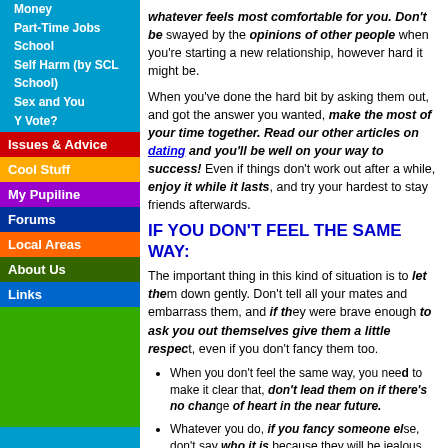Money
Part-Time Jobs
School
Self Harm (by SCL School)
Sex and You
Y Vote?
Issues & Advice
Cool Stuff
My Pupiline
Forums
Local Areas
About Us
Links
whatever feels most comfortable for you. Don't be swayed by the opinions of other people when you're starting a new relationship, however hard it might be.
When you've done the hard bit by asking them out, and got the answer you wanted, make the most of your time together. Read our other articles on dating and you'll be well on your way to success! Even if things don't work out after a while, enjoy it while it lasts, and try your hardest to stay friends afterwards.
IF YOU DON'T FEEL THE SAME WAY:
The important thing in this kind of situation is to let them down gently. Don't tell all your mates and embarrass them, and if they were brave enough to ask you out themselves give them a little respect, even if you don't fancy them too.
When you don't feel the same way, you need to make it clear that, don't lead them on if there's no chance of a change of heart in the near future.
Whatever you do, if you fancy someone else, don't say who it is because they will be jealous and you risk making an enemy.
If you honestly fancy them too, but have been put off by what other people think, you need to decide why you are letting others influence you so much. It's your life and your decision, so if you think it could work, give it a while the chance is there and hope your feelings grow for him or her as they get to know them.